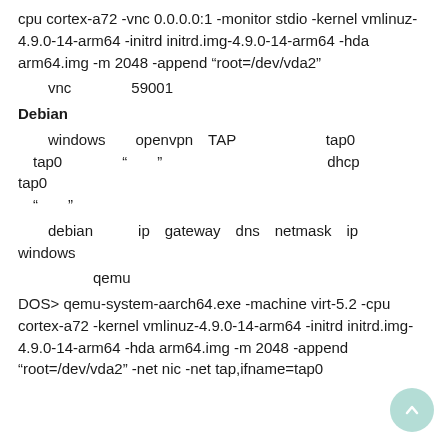cpu cortex-a72 -vnc 0.0.0.0:1 -monitor stdio -kernel vmlinuz-4.9.0-14-arm64 -initrd initrd.img-4.9.0-14-arm64 -hda arm64.img -m 2048 -append “root=/dev/vda2”
​​​​vnc​​​​​​​​59001​​​​​​​​​​​​​​​​
Debian​​​​​
​​​windows​​​openvpn​TAP​​​​​​​​​​​​tap0​​​​​​​tap0​​​​​​​​“​​​”​​​​​​​​​​​​​​​​​​dhcp​​​​​​​tap0​“​​​”​​​​​​
​​​​debian​​​​​ip​gateway​dns​netmask​ip​​​​​windows​​​​​​​​​​​​​
​​​​​​​​​qemu​
DOS> qemu-system-aarch64.exe -machine virt-5.2 -cpu cortex-a72 -kernel vmlinuz-4.9.0-14-arm64 -initrd initrd.img-4.9.0-14-arm64 -hda arm64.img -m 2048 -append “root=/dev/vda2” -net nic -net tap,ifname=tap0